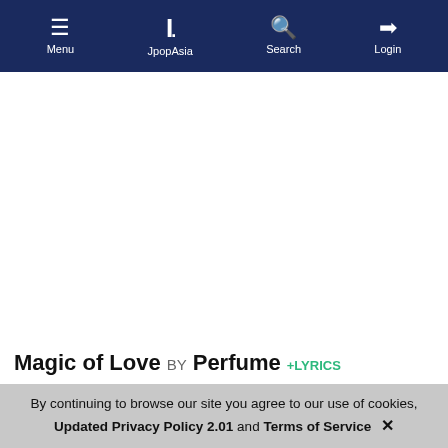Menu | JpopAsia | Search | Login
Magic of Love BY Perfume +LYRICS
[Figure (photo): Album art thumbnail with blue and white vertical stripes and figures]
Upvote ↑ 1
Released 22 May 2013
Genre Jpop
By continuing to browse our site you agree to our use of cookies, Updated Privacy Policy 2.01 and Terms of Service ✕